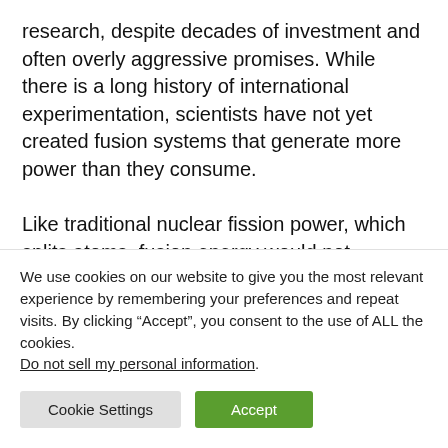research, despite decades of investment and often overly aggressive promises. While there is a long history of international experimentation, scientists have not yet created fusion systems that generate more power than they consume.

Like traditional nuclear fission power, which splits atoms, fusion energy would not consume fossil fuel and would not produce greenhouse gases. It would be more desirable than nuclear fission because its fuel, usually hydrogen isotopes, is more plentiful than the uranium used by current nuclear
We use cookies on our website to give you the most relevant experience by remembering your preferences and repeat visits. By clicking “Accept”, you consent to the use of ALL the cookies.
Do not sell my personal information.